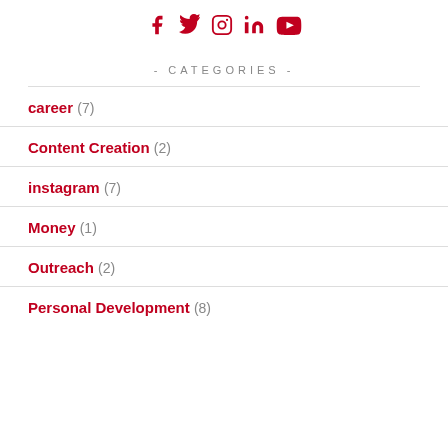[Figure (other): Social media icons row: Facebook, Twitter, Instagram, LinkedIn, YouTube — all in red]
- CATEGORIES -
career (7)
Content Creation (2)
instagram (7)
Money (1)
Outreach (2)
Personal Development (8)